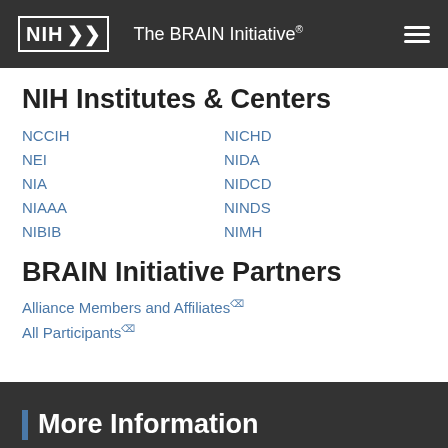NIH | The BRAIN Initiative®
NIH Institutes & Centers
NCCIH
NEI
NIA
NIAAA
NIBIB
NICHD
NIDA
NIDCD
NINDS
NIMH
BRAIN Initiative Partners
Alliance Members and Affiliates
All Participants
More Information